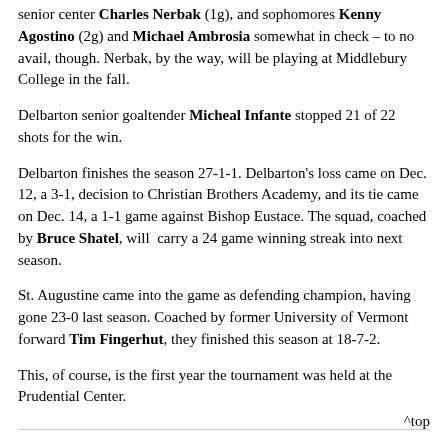senior center Charles Nerbak (1g), and sophomores Kenny Agostino (2g) and Michael Ambrosia somewhat in check – to no avail, though. Nerbak, by the way, will be playing at Middlebury College in the fall.
Delbarton senior goaltender Micheal Infante stopped 21 of 22 shots for the win.
Delbarton finishes the season 27-1-1. Delbarton's loss came on Dec. 12, a 3-1, decision to Christian Brothers Academy, and its tie came on Dec. 14, a 1-1 game against Bishop Eustace. The squad, coached by Bruce Shatel, will carry a 24 game winning streak into next season.
St. Augustine came into the game as defending champion, having gone 23-0 last season. Coached by former University of Vermont forward Tim Fingerhut, they finished this season at 18-7-2.
This, of course, is the first year the tournament was held at the Prudential Center.
^top